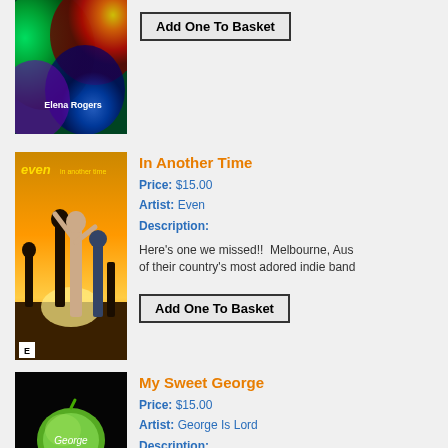[Figure (photo): Partial album cover for Elena Rogers - colorful psychedelic image with green, red, and blue tones, artist name 'Elena Rogers' in white text]
Add One To Basket
[Figure (photo): Album cover for 'In Another Time' by Even - shows people dancing outdoors at sunset with text 'even in another time' in yellow]
In Another Time
Price: $15.00
Artist: Even
Description:
Here's one we missed!!  Melbourne, Aus of their country's most adored indie band
Add One To Basket
[Figure (photo): Album cover for 'My Sweet George' by George Is Lord - dark background with green apple bearing handwritten text]
My Sweet George
Price: $15.00
Artist: George Is Lord
Description:
George is Lord is a celebration of all thir in learning to play the drums, became a